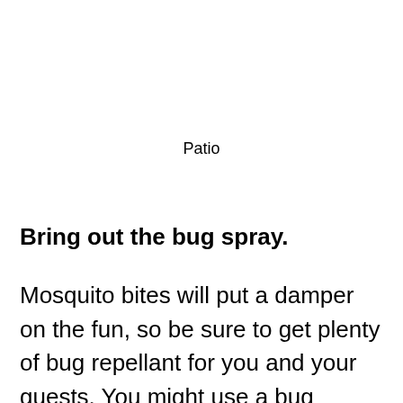Patio
Bring out the bug spray.
Mosquito bites will put a damper on the fun, so be sure to get plenty of bug repellant for you and your guests. You might use a bug zapper or tiki torches filled with citronella or light citronella candles to keep pesky bugs away. Ensure that children know not to touch or play with bug zappers, tiki torches or citronella candles. Even